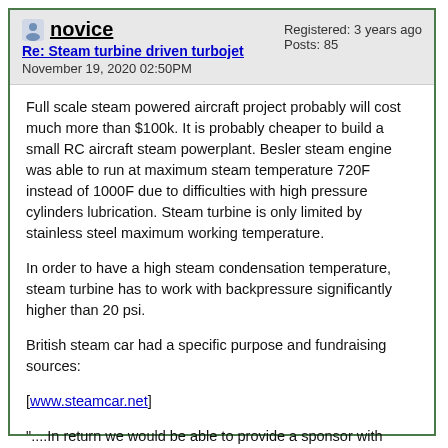novice | Re: Steam turbine driven turbojet | November 19, 2020 02:50PM | Registered: 3 years ago | Posts: 85
Full scale steam powered aircraft project probably will cost much more than $100k. It is probably cheaper to build a small RC aircraft steam powerplant. Besler steam engine was able to run at maximum steam temperature 720F instead of 1000F due to difficulties with high pressure cylinders lubrication. Steam turbine is only limited by stainless steel maximum working temperature.
In order to have a high steam condensation temperature, steam turbine has to work with backpressure significantly higher than 20 psi.
British steam car had a specific purpose and fundraising sources:
[www.steamcar.net]
"....In return we would be able to provide a sponsor with